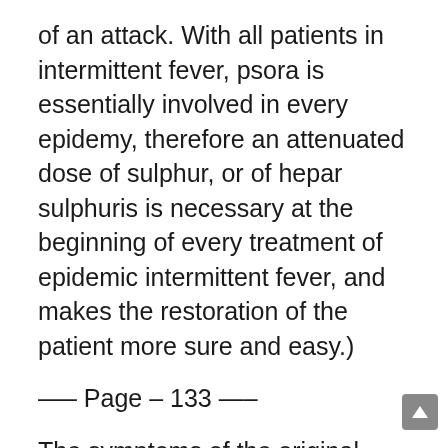of an attack. With all patients in intermittent fever, psora is essentially involved in every epidemy, therefore an attenuated dose of sulphur, or of hepar sulphuris is necessary at the beginning of every treatment of epidemic intermittent fever, and makes the restoration of the patient more sure and easy.)
—– Page – 133 —–
The symptoms of the original chronic disease will, however, always be found